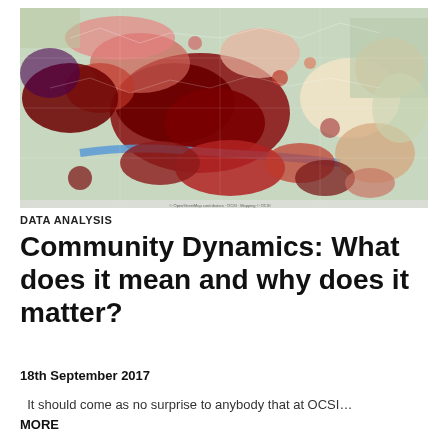[Figure (map): Choropleth map showing 'Belonging, average scores' across local areas compared against the national average. Areas shown in shades from yellow/light (lower belonging) through red to dark brown/maroon (higher belonging). A legend in the top-right shows score ranges and two blue buttons labeled 'About this indicator' and 'Edit for your area'.]
DATA ANALYSIS
Community Dynamics: What does it mean and why does it matter?
18th September 2017
It should come as no surprise to anybody that at OCSI... MORE